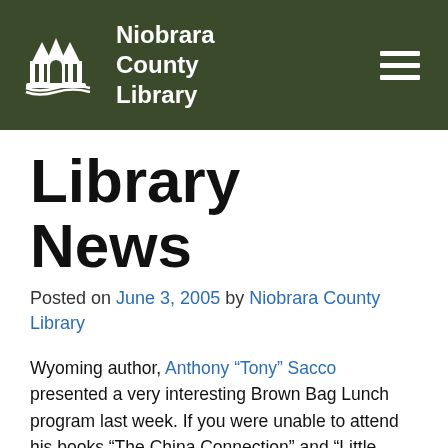Niobrara County Library
Library News
Posted on June 3, 2005 by Niobrara County Library
Wyoming author, Anthony “Tony” Sacco presented a very interesting Brown Bag Lunch program last week. If you were unable to attend his books “The China Connection” and “Little Sister Lost” are available at the library. Both books are fictionalized accounts of historical events.
The Niobrara County Library Foundation is planning a “No-Limit Texas Hold-em” endowment fundraiser for Saturday, July 9 in conjunction with the Legend of